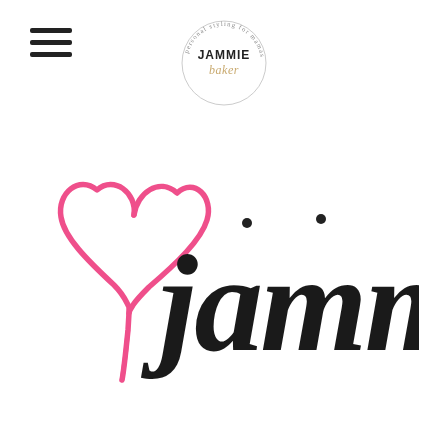[Figure (logo): Hamburger menu icon (three horizontal lines) in top left corner]
[Figure (logo): Jammie Baker circular logo with text 'personal styling for mamas' around the border, 'JAMMIE' in bold and 'baker' in script inside]
[Figure (logo): Pink hand-drawn heart outline on the left, followed by 'jammie' written in large black cursive/script handwriting signature style]